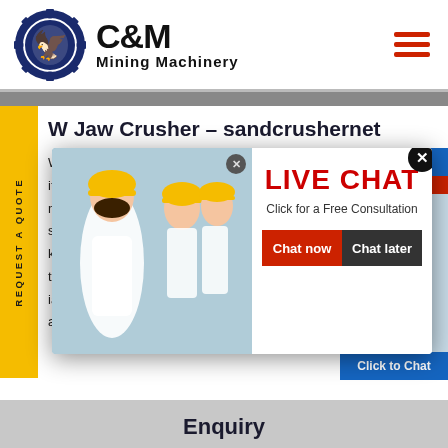[Figure (logo): C&M Mining Machinery logo with eagle in gear circle, navy blue, with company name text]
W Jaw Crusher - sandcrushernet
W Jaw C... ith's PEV... metallu... structio... king cement, building materials, terials and ceramics in the seco iary crushing, dealing with vario and rocks
[Figure (screenshot): Live Chat popup overlay with workers in yellow hard hats on left, LIVE CHAT red text, Click for a Free Consultation, Chat now and Chat later buttons]
[Figure (photo): Customer service agent with headset on right side chat widget showing Hours Online blue/red banner and Click to Chat button]
Enquiry